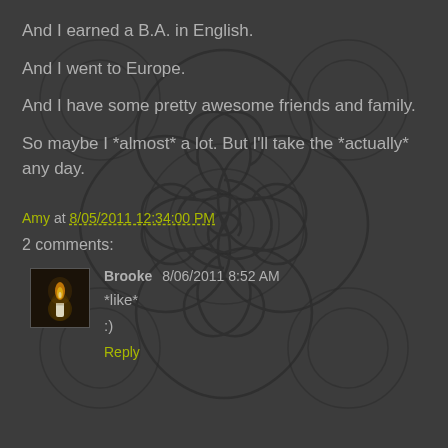And I earned a B.A. in English.
And I went to Europe.
And I have some pretty awesome friends and family.
So maybe I *almost* a lot. But I'll take the *actually* any day.
Amy at 8/05/2011 12:34:00 PM
2 comments:
Brooke 8/06/2011 8:52 AM *like* :) Reply